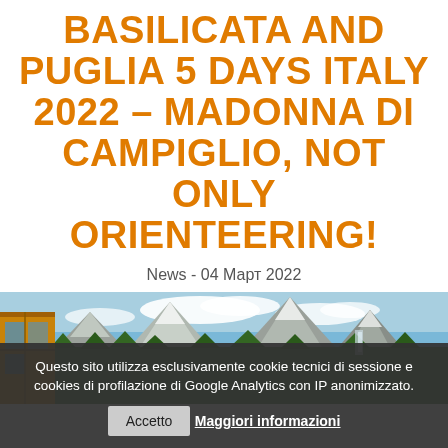BASILICATA AND PUGLIA 5 DAYS ITALY 2022 – MADONNA DI CAMPIGLIO, NOT ONLY ORIENTEERING!
News - 04 Март 2022
[Figure (photo): Mountain landscape with rocky peaks, green forest, blue sky with clouds, and a wooden structure visible on the left side.]
Questo sito utilizza esclusivamente cookie tecnici di sessione e cookies di profilazione di Google Analytics con IP anonimizzato.
Accetto   Maggiori informazioni